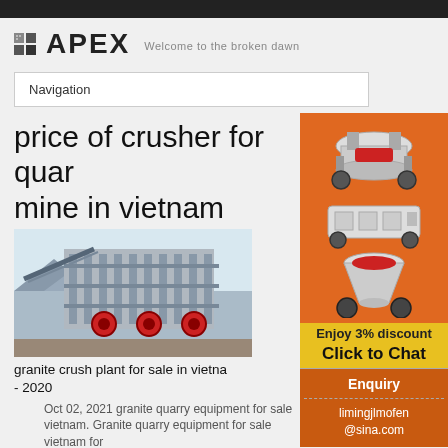APEX — Welcome to the broken dawn
Navigation
price of crusher for quarry mine in vietnam
[Figure (photo): Industrial granite crush plant facility with large machinery and red circular components visible, outdoor setting with mountains in background]
granite crush plant for sale in vietnam - 2020
[Figure (illustration): Advertisement banner showing mining/crushing equipment machines on orange background with text 'Enjoy 3% discount' and 'Click to Chat' in yellow, plus Enquiry and limingjlmofen@sina.com contact info]
Oct 02, 2021  granite quarry equipment for sale vietnam. Granite quarry equipment for sale vietnam for